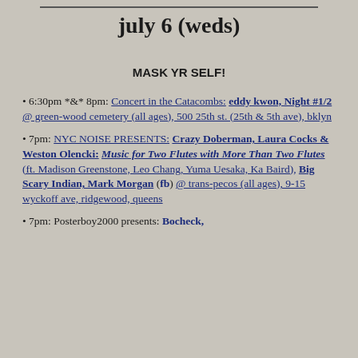july 6 (weds)
MASK YR SELF!
• 6:30pm *&* 8pm: Concert in the Catacombs: eddy kwon, Night #1/2 @ green-wood cemetery (all ages), 500 25th st. (25th & 5th ave), bklyn
• 7pm: NYC NOISE PRESENTS: Crazy Doberman, Laura Cocks & Weston Olencki: Music for Two Flutes with More Than Two Flutes (ft. Madison Greenstone, Leo Chang, Yuma Uesaka, Ka Baird), Big Scary Indian, Mark Morgan (fb) @ trans-pecos (all ages), 9-15 wyckoff ave, ridgewood, queens
• 7pm: Posterboy2000 presents: Bocheck,